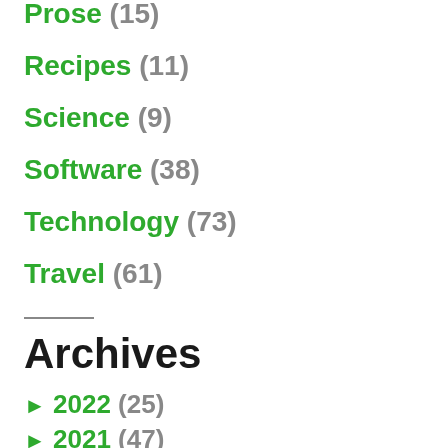Prose (15)
Recipes (11)
Science (9)
Software (38)
Technology (73)
Travel (61)
Archives
► 2022 (25)
► 2021 (47)